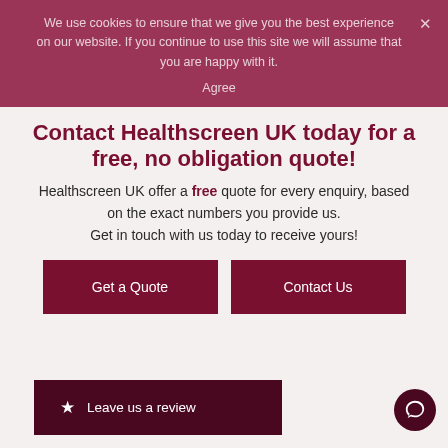We use cookies to ensure that we give you the best experience on our website. If you continue to use this site we will assume that you are happy with it.
Agree
Contact Healthscreen UK today for a free, no obligation quote!
Healthscreen UK offer a free quote for every enquiry, based on the exact numbers you provide us. Get in touch with us today to receive yours!
Get a Quote
Contact Us
Leave us a review